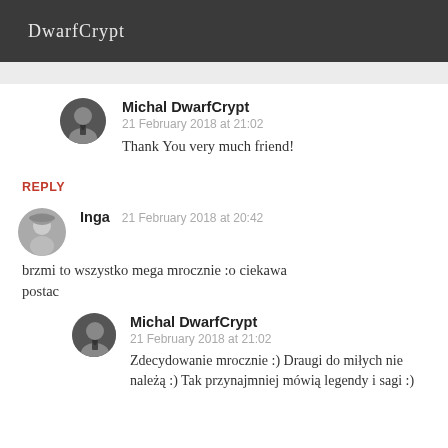DwarfCrypt
Michal DwarfCrypt
21 February 2018 at 21:02
Thank You very much friend!
REPLY
Inga  21 February 2018 at 20:42
brzmi to wszystko mega mrocznie :o ciekawa postac
Michal DwarfCrypt
21 February 2018 at 21:02
Zdecydowanie mrocznie :) Draugi do miłych nie należą :) Tak przynajmniej mówią legendy i sagi :)